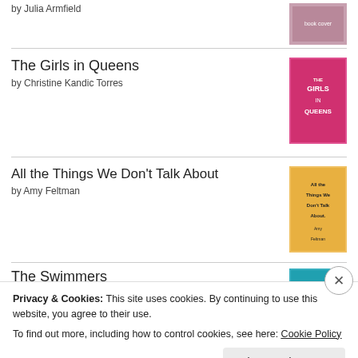by Julia Armfield
The Girls in Queens by Christine Kandic Torres
All the Things We Don't Talk About by Amy Feltman
The Swimmers by Julie Otsuka
[Figure (logo): Goodreads logo in rounded rectangle border]
Privacy & Cookies: This site uses cookies. By continuing to use this website, you agree to their use.
To find out more, including how to control cookies, see here: Cookie Policy
Close and accept